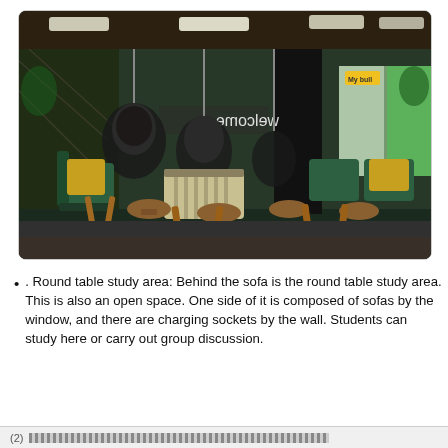[Figure (photo): Interior photo of a university library lounge area showing green and yellow fabric deckchairs with wooden frames, hanging wicker egg-chair seats, round wooden side tables, a striped sofa, and a 'welcome' sign visible through the windows. A directional arrow floor marking is visible in the foreground.]
. Round table study area: Behind the sofa is the round table study area. This is also an open space. One side of it is composed of sofas by the window, and there are charging sockets by the wall. Students can study here or carry out group discussion.
(2) [hatched pattern]